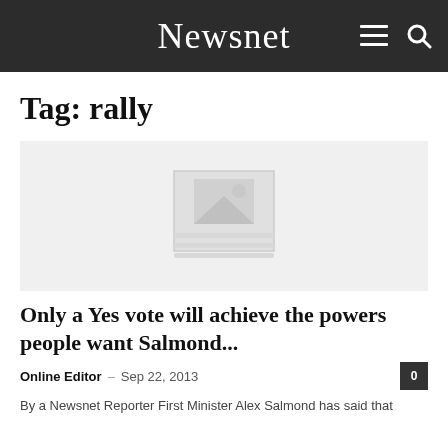Newsnet
Tag: rally
[Figure (photo): Placeholder image with broken image icon on light grey background]
Only a Yes vote will achieve the powers people want Salmond...
Online Editor – Sep 22, 2013
By a Newsnet Reporter First Minister Alex Salmond has said that